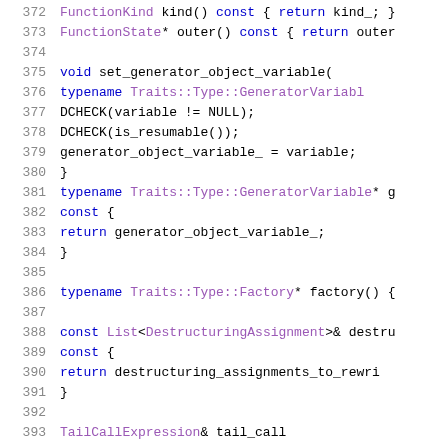[Figure (screenshot): Source code listing showing C++ code lines 372-393 with syntax highlighting. Keywords in blue, type names in purple, plain identifiers in black, line numbers in gray.]